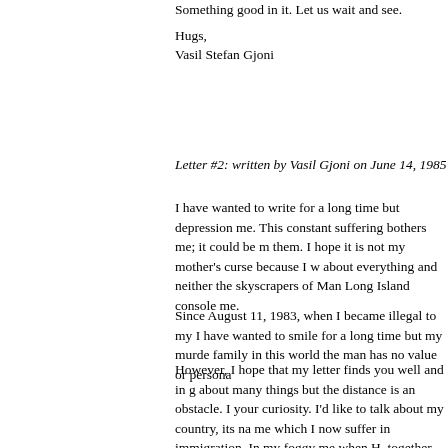Something good in it. Let us wait and see.
Hugs,
Vasil Stefan Gjoni
Letter #2: written by Vasil Gjoni on June 14, 1985
I have wanted to write for a long time but depression me. This constant suffering bothers me; it could be them. I hope it is not my mother's curse because I w about everything and neither the skyscrapers of Man Long Island console me.
Since August 11, 1983, when I became illegal to my I have wanted to smile for a long time but my murder family in this world the man has no value or persona
However, I hope that my letter finds you well and in g about many things but the distance is an obstacle. I your curiosity. I'd like to talk about my country, its na me which I now suffer in immigration. In my foggy me when H. together with the children brought straw fro while my father would check if the big gate in the co holidays we all went to the mountain. T. would put m not walk and he, using a sports rifle, would shoot ow to the altar on the top of the mountain. We were the